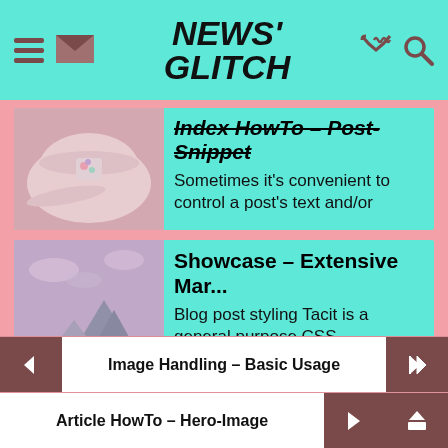NEWS' GLITCH
Index HowTo – Post-Snippet
Sometimes it's convenient to control a post's text and/or
Showcase – Extensive Mar...
Blog post styling Tacit is a general purpose CSS
Image Handling – Basic Usage
Article HowTo – Hero-Image